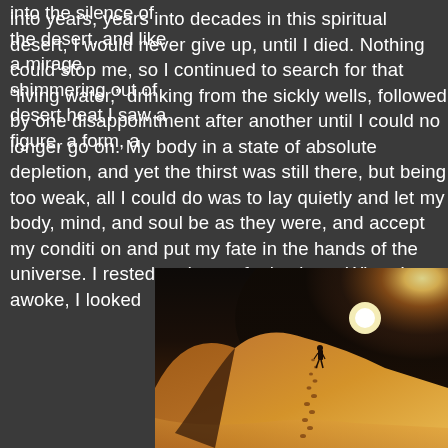into years, years into decades in this spiritual desert, I would never give up, until I died. Nothing could stop me, so I continued to search for that “living water,” drinking from the sickly wells, followed by one disappointment after another until I could no longer go on. My body in a state of absolute depletion, and yet the thirst was still there, but being too weak, all I could do was to lay quietly and let my body, mind, and soul be as they were, and accept my conditi on and put my fate in the hands of the universe. I rested and even feel asleep. When I awoke, I looked into the silence of the desert, and like a mirage shimmering out of desert heat I saw a figure, a form, a
[Figure (photo): A person walking up a large sand dune in a desert, with footprints trailing behind them, and a bright glowing sun on the horizon casting warm golden light over the scene.]